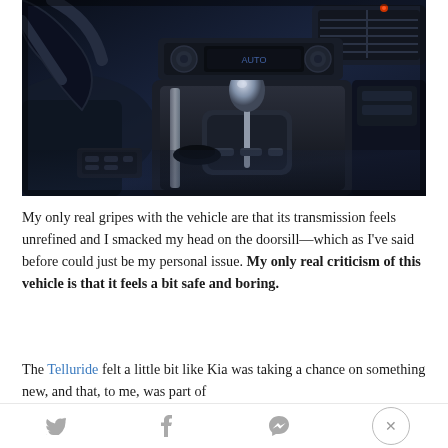[Figure (photo): Interior of a car showing center console with automatic gear shifter, cup holders, climate controls, and steering wheel visible in the upper left. Dark blue/black tones throughout.]
My only real gripes with the vehicle are that its transmission feels unrefined and I smacked my head on the doorsill—which as I've said before could just be my personal issue. My only real criticism of this vehicle is that it feels a bit safe and boring.
The Telluride felt a little bit like Kia was taking a chance on something new, and that, to me, was part of
Twitter | Facebook | Messenger | Close